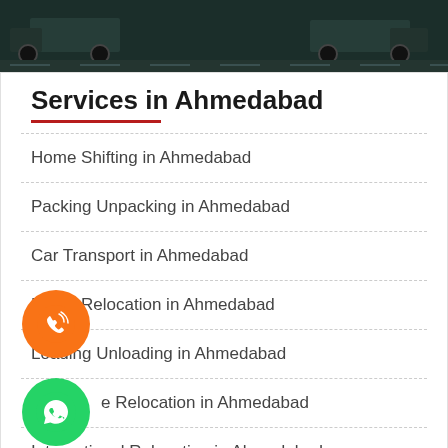[Figure (photo): Dark banner image showing trucks/vehicles on a road with dark green background]
Services in Ahmedabad
Home Shifting in Ahmedabad
Packing Unpacking in Ahmedabad
Car Transport in Ahmedabad
Home Relocation in Ahmedabad
Loading Unloading in Ahmedabad
Office Relocation in Ahmedabad
International Relocation in Ahmedabad
Warehousing Service in Ahmedabad